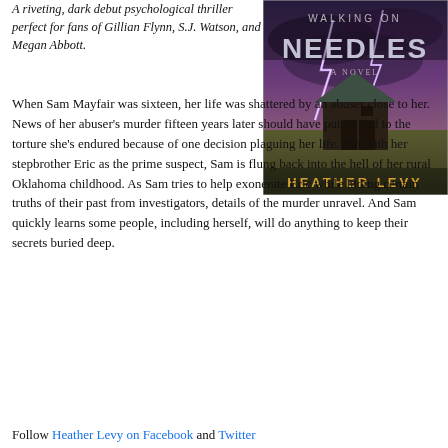A riveting, dark debut psychological thriller perfect for fans of Gillian Flynn, S.J. Watson, and Megan Abbott.
[Figure (illustration): Book cover of 'Walking on Needles - A Novel' by Heather Levy. Depicts a weathered barn under a stormy sky with lightning. The word NEEDLES is prominently displayed in large silver text. Author name HEATHER LEVY appears in gold at the bottom.]
When Sam Mayfair was sixteen, her life was shattered by an abuser close to her. News of her abuser's murder fifteen years later should have put an end to the torture she's endured because of one decision plaguing her life. But with her stepbrother Eric as the prime suspect, Sam is flung back into the hell of her rural Oklahoma childhood. As Sam tries to help exonerate Eric while hiding certain truths of their past from investigators, details of the murder unravel. And Sam quickly learns some people, including herself, will do anything to keep their secrets buried deep.
Follow Heather Levy on Facebook and Twitter